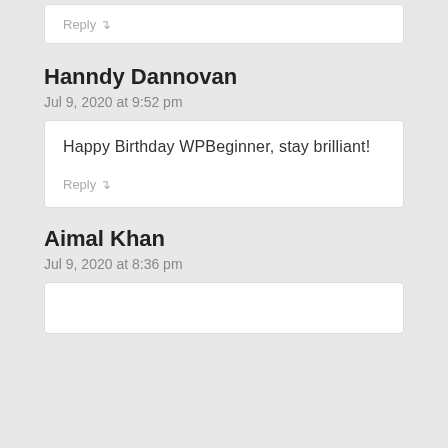Reply ↴
Hanndy Dannovan
Jul 9, 2020 at 9:52 pm
Happy Birthday WPBeginner, stay brilliant!
Reply ↴
Aimal Khan
Jul 9, 2020 at 8:36 pm